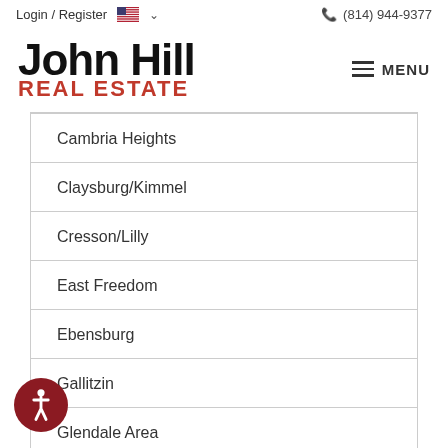Login / Register  (814) 944-9377
John Hill REAL ESTATE
Cambria Heights
Claysburg/Kimmel
Cresson/Lilly
East Freedom
Ebensburg
Gallitzin
Glendale Area